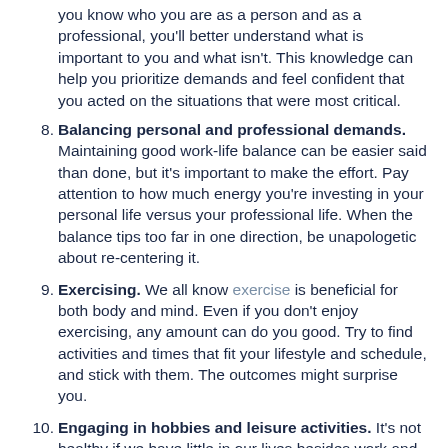(continuation) you know who you are as a person and as a professional, you'll better understand what is important to you and what isn't. This knowledge can help you prioritize demands and feel confident that you acted on the situations that were most critical.
8. Balancing personal and professional demands. Maintaining good work-life balance can be easier said than done, but it's important to make the effort. Pay attention to how much energy you're investing in your personal life versus your professional life. When the balance tips too far in one direction, be unapologetic about re-centering it.
9. Exercising. We all know exercise is beneficial for both body and mind. Even if you don't enjoy exercising, any amount can do you good. Try to find activities and times that fit your lifestyle and schedule, and stick with them. The outcomes might surprise you.
10. Engaging in hobbies and leisure activities. It's not healthy if we have little in our lives besides work and personal demands. Hobbies and leisure activities are great ways to find enjoyment in life and refresh ourselves when things becomes too stressful or chaotic.
11. Creating comfortable work environments. For better or worse, we spend a large portion of our lives at work. One way to